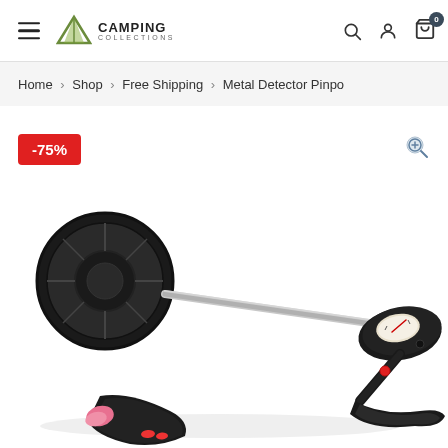Camping Collections — navigation header with hamburger menu, logo, search, account, and cart icons
Home > Shop > Free Shipping > Metal Detector Pinpo
-75%
[Figure (photo): Metal detector product photo showing a full metal detector with circular search coil on a telescoping rod, control box with analog meter, and a pinpointer probe accessory in the foreground, on white background]